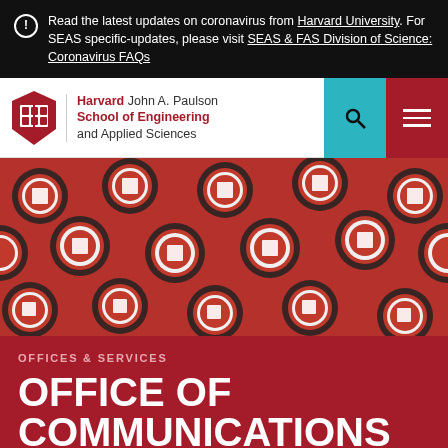Read the latest updates on coronavirus from Harvard University. For SEAS specific-updates, please visit SEAS & FAS Division of Science: Coronavirus FAQs
[Figure (logo): Harvard John A. Paulson School of Engineering and Applied Sciences logo with shield]
[Figure (photo): Repeated Harvard shield medallions on a red/crimson background]
OFFICES & SERVICES
OFFICE OF COMMUNICATIONS